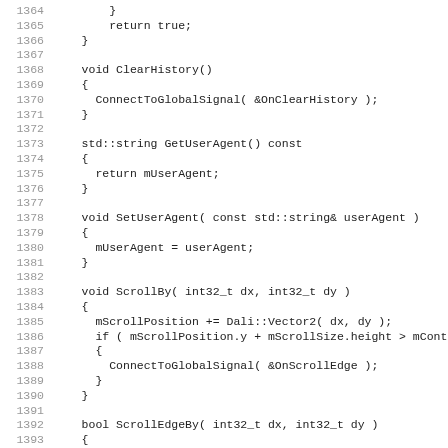Code listing lines 1364-1395, C++ source code showing ClearHistory(), GetUserAgent(), SetUserAgent(), ScrollBy(), and ScrollEdgeBy() method implementations.